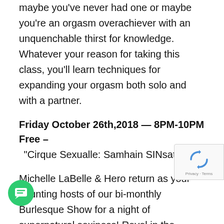maybe you've never had one or maybe you're an orgasm overachiever with an unquenchable thirst for knowledge. Whatever your reason for taking this class, you'll learn techniques for expanding your orgasm both solo and with a partner.
Friday October 26th,2018 — 8PM-10PM Free –
“Cirque Sexualle: Samhain SINsational”
Michelle LaBelle & Hero return as your haunting hosts of our bi-monthly Burlesque Show for a night of supernatural sexiness! Revel in the devilish delights brought to you by this brand new cast for our first ever Halloween-themed Extravaganza! There will be plenty of tricks and treats to satisfy your soul as the titillating talents of Onyx Black, Eden Løst, Calypso Jeté and Damon Rebél, along
[Figure (other): Google reCAPTCHA badge with spinning arrows icon and Privacy - Terms text]
[Figure (other): Green circular chat/messaging button with speech bubble icon]